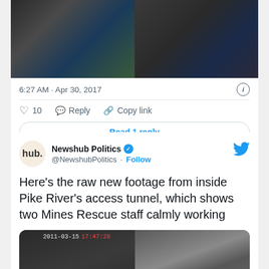[Figure (screenshot): Video screenshot showing two frames from mine footage, dark/cave-like imagery]
6:27 AM · Apr 30, 2017
10   Reply   Copy link
Read 1 reply
Newshub Politics @NewshubPolitics · Follow
Here's the raw new footage from inside Pike River's access tunnel, which shows two Mines Rescue staff calmly working
[Figure (screenshot): Video footage from inside Pike River mine tunnel, dated 2011-03-15, timestamp 17:47:28, showing two frames]